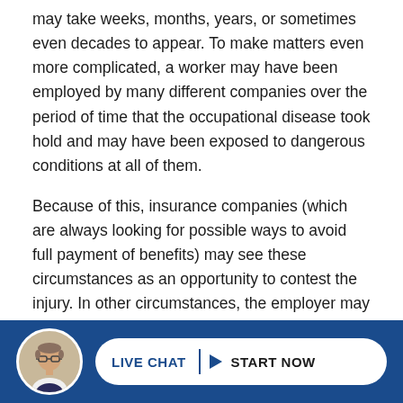may take weeks, months, years, or sometimes even decades to appear. To make matters even more complicated, a worker may have been employed by many different companies over the period of time that the occupational disease took hold and may have been exposed to dangerous conditions at all of them.
Because of this, insurance companies (which are always looking for possible ways to avoid full payment of benefits) may see these circumstances as an opportunity to contest the injury. In other circumstances, the employer may have changed equipment or products, or may have added safety devices over time, making it harder to determine if the occupational disease was work related as well.
Experienced Chicago workers' comp attorneys, however,
[Figure (other): Live chat call-to-action footer bar with dark blue background, circular avatar photo of a man in glasses, and a white pill-shaped button reading LIVE CHAT with an arrow icon and START NOW]